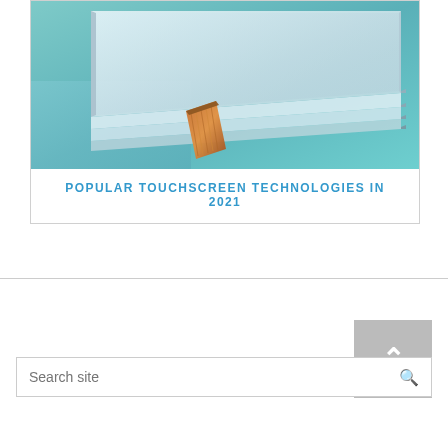[Figure (photo): Close-up photo of a touchscreen panel assembly showing layered glass/film sheets with a flat ribbon cable connector, against a teal/blue gradient background.]
POPULAR TOUCHSCREEN TECHNOLOGIES IN 2021
Search site